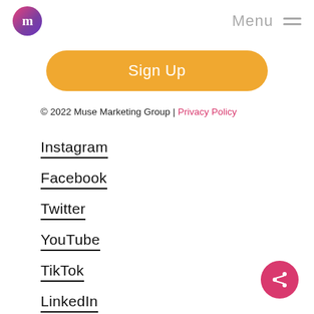m | Menu ≡
Sign Up
© 2022 Muse Marketing Group | Privacy Policy
Instagram
Facebook
Twitter
YouTube
TikTok
LinkedIn
Spotify